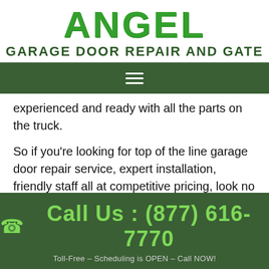ANGEL GARAGE DOOR REPAIR AND GATE
[Figure (other): Navigation hamburger menu icon on dark green bar]
experienced and ready with all the parts on the truck.
So if you're looking for top of the line garage door repair service, expert installation, friendly staff all at competitive pricing, look no further call Angel Garage Door Repair Service in Lompoc Ca.
There are a few garage door repair companies
Call Us : (877) 616-7770
Toll-Free – Scheduling is OPEN – Call NOW!